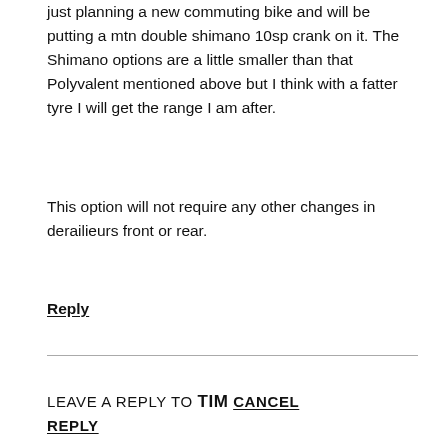just planning a new commuting bike and will be putting a mtn double shimano 10sp crank on it. The Shimano options are a little smaller than that Polyvalent mentioned above but I think with a fatter tyre I will get the range I am after.
This option will not require any other changes in derailieurs front or rear.
Reply
LEAVE A REPLY TO TIM CANCEL REPLY